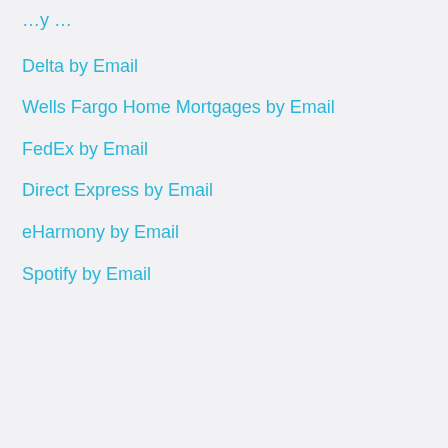Delta by Email
Wells Fargo Home Mortgages by Email
FedEx by Email
Direct Express by Email
eHarmony by Email
Spotify by Email